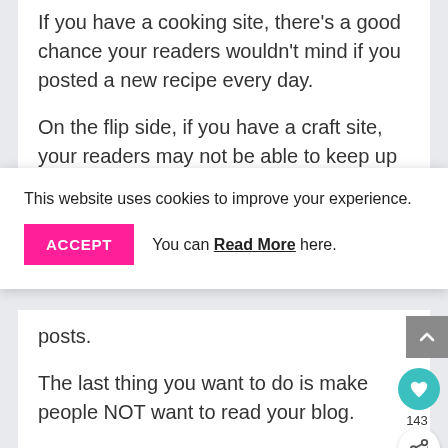If you have a cooking site, there's a good chance your readers wouldn't mind if you posted a new recipe every day.
On the flip side, if you have a craft site, your readers may not be able to keep up if you
This website uses cookies to improve your experience. ACCEPT You can Read More here.
posts.
The last thing you want to do is make people NOT want to read your blog.
On the flip side, if you post once or twice a